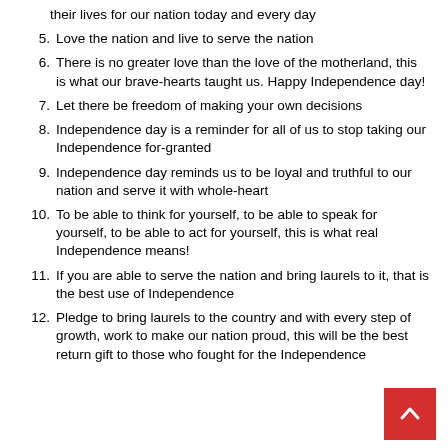their lives for our nation today and every day
5. Love the nation and live to serve the nation
6. There is no greater love than the love of the motherland, this is what our brave-hearts taught us. Happy Independence day!
7. Let there be freedom of making your own decisions
8. Independence day is a reminder for all of us to stop taking our Independence for-granted
9. Independence day reminds us to be loyal and truthful to our nation and serve it with whole-heart
10. To be able to think for yourself, to be able to speak for yourself, to be able to act for yourself, this is what real Independence means!
11. If you are able to serve the nation and bring laurels to it, that is the best use of Independence
12. Pledge to bring laurels to the country and with every step of growth, work to make our nation proud, this will be the best return gift to those who fought for the Independence